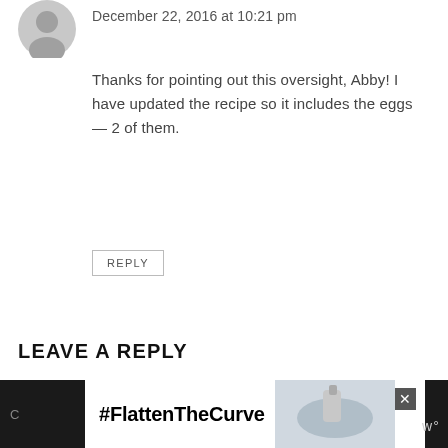[Figure (photo): Small circular avatar photo (black and white) of a person in the top-left]
December 22, 2016 at 10:21 pm
Thanks for pointing out this oversight, Abby! I have updated the recipe so it includes the eggs — 2 of them.
REPLY
LEAVE A REPLY
Your email address will not be published. Required fields are marked *
Recipe Rating
[Figure (other): Five empty/outline star rating icons]
[Figure (other): Advertisement banner at bottom: #FlattenTheCurve with handwashing image on dark background]